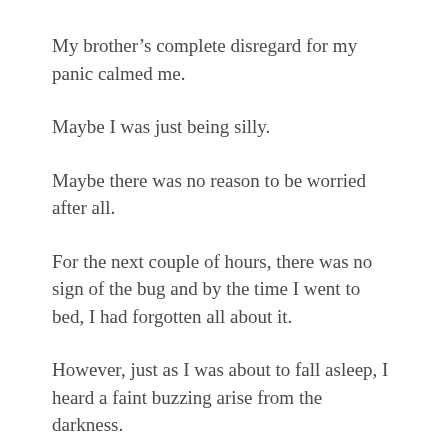My brother’s complete disregard for my panic calmed me.
Maybe I was just being silly.
Maybe there was no reason to be worried after all.
For the next couple of hours, there was no sign of the bug and by the time I went to bed, I had forgotten all about it.
However, just as I was about to fall asleep, I heard a faint buzzing arise from the darkness.
I got out of bed and turned the light on.
The buzzing stopped.